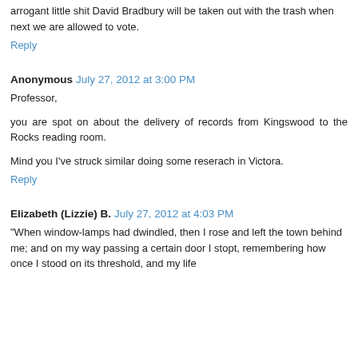arrogant little shit David Bradbury will be taken out with the trash when next we are allowed to vote.
Reply
Anonymous  July 27, 2012 at 3:00 PM
Professor,
you are spot on about the delivery of records from Kingswood to the Rocks reading room.
Mind you I've struck similar doing some reserach in Victora.
Reply
Elizabeth (Lizzie) B.  July 27, 2012 at 4:03 PM
"When window-lamps had dwindled, then I rose and left the town behind me; and on my way passing a certain door I stopt, remembering how once I stood on its threshold, and my life